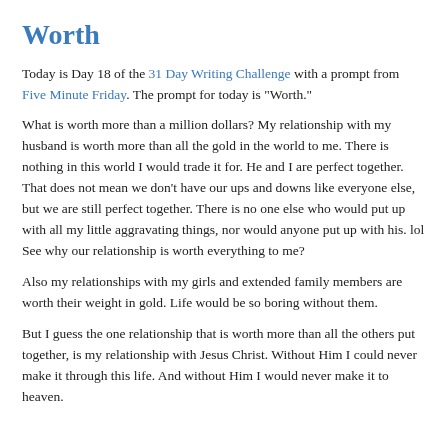Worth
Today is Day 18 of the 31 Day Writing Challenge with a prompt from Five Minute Friday. The prompt for today is "Worth."
What is worth more than a million dollars? My relationship with my husband is worth more than all the gold in the world to me. There is nothing in this world I would trade it for. He and I are perfect together. That does not mean we don't have our ups and downs like everyone else, but we are still perfect together. There is no one else who would put up with all my little aggravating things, nor would anyone put up with his. lol See why our relationship is worth everything to me?
Also my relationships with my girls and extended family members are worth their weight in gold. Life would be so boring without them.
But I guess the one relationship that is worth more than all the others put together, is my relationship with Jesus Christ. Without Him I could never make it through this life. And without Him I would never make it to heaven.